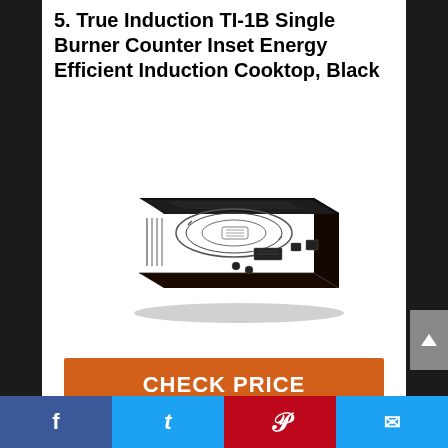5. True Induction TI-1B Single Burner Counter Inset Energy Efficient Induction Cooktop, Black
[Figure (photo): Black True Induction TI-1B single burner induction cooktop with circular heating element and touch controls, shown in 3/4 perspective view against white background]
CHECK PRICE
Facebook | Twitter | Pinterest | Email social share bar